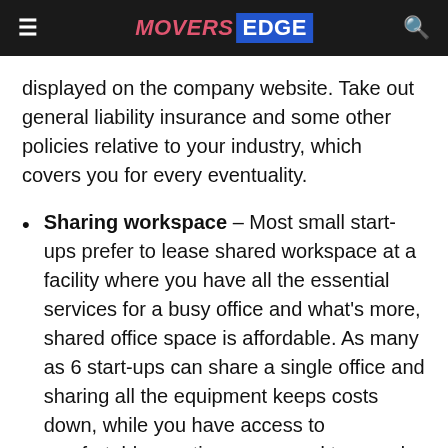MOVERS EDGE
displayed on the company website. Take out general liability insurance and some other policies relative to your industry, which covers you for every eventuality.
Sharing workspace – Most small start-ups prefer to lease shared workspace at a facility where you have all the essential services for a busy office and what's more, shared office space is affordable. As many as 6 start-ups can share a single office and sharing all the equipment keeps costs down, while you have access to comfortable meeting rooms and top-grade office equipment.
Once your business plan is complete and you have